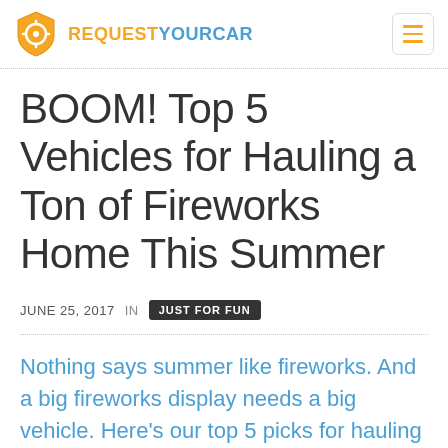REQUESTYOURCAR
BOOM! Top 5 Vehicles for Hauling a Ton of Fireworks Home This Summer
JUNE 25, 2017  IN  JUST FOR FUN
Nothing says summer like fireworks. And a big fireworks display needs a big vehicle. Here's our top 5 picks for hauling fireworks this